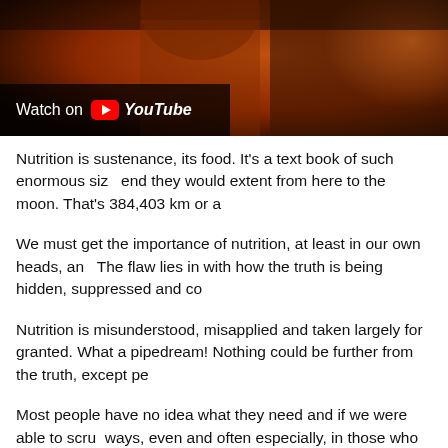[Figure (screenshot): YouTube video thumbnail showing a man from the neck up against a dark orange/brown background, with a 'Watch on YouTube' overlay bar in the lower left corner.]
Nutrition is sustenance, its food. It's a text book of such enormous size that placed end to end they would extent from here to the moon. That's 384,403 km or a
We must get the importance of nutrition, at least in our own heads, and The flaw lies in with how the truth is being hidden, suppressed and co
Nutrition is misunderstood, misapplied and taken largely for granted. What a pipedream! Nothing could be further from the truth, except pe
Most people have no idea what they need and if we were able to scru ways, even and often especially, in those who say they eat well.
In fact when someone says they eat well, assume that statement in a Nutrition is very personal and for some, even a religious experience.